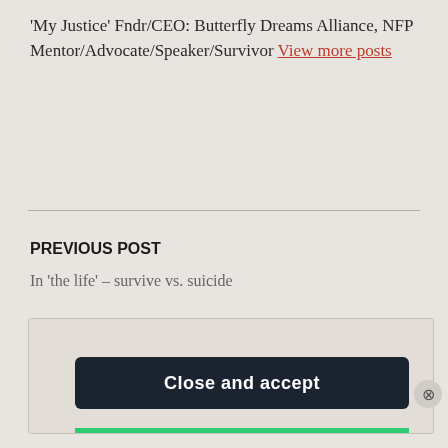'My Justice' Fndr/CEO: Butterfly Dreams Alliance, NFP Mentor/Advocate/Speaker/Survivor View more posts
PREVIOUS POST
In 'the life' – survive vs. suicide
Privacy & Cookies: This site uses cookies. By continuing to use this website, you agree to their use. To find out more, including how to control cookies, see here: Cookie Policy
Close and accept